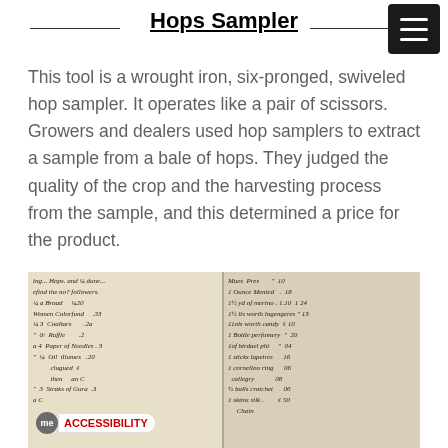Hops Sampler
This tool is a wrought iron, six-pronged, swiveled hop sampler. It operates like a pair of scissors. Growers and dealers used hop samplers to extract a sample from a bale of hops. They judged the quality of the crop and the harvesting process from the sample, and this determined a price for the product.
[Figure (photo): A photograph of a handwritten historical ledger book open to two pages, showing cursive entries with items and prices, including references to hops, ounces, yards of merino, bottles of perfumery, and other goods.]